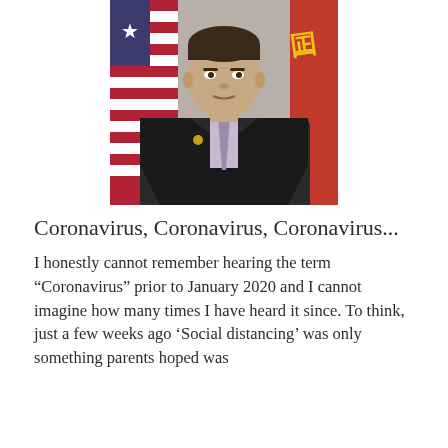[Figure (photo): Official portrait of a man in a dark suit and lavender tie, standing in front of an American flag on the left and a red flag on the right.]
Coronavirus, Coronavirus, Coronavirus...
I honestly cannot remember hearing the term “Coronavirus” prior to January 2020 and I cannot imagine how many times I have heard it since. To think, just a few weeks ago ‘Social distancing’ was only something parents hoped was